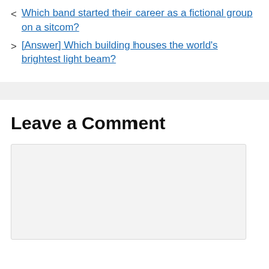< Which band started their career as a fictional group on a sitcom?
> [Answer] Which building houses the world's brightest light beam?
Leave a Comment